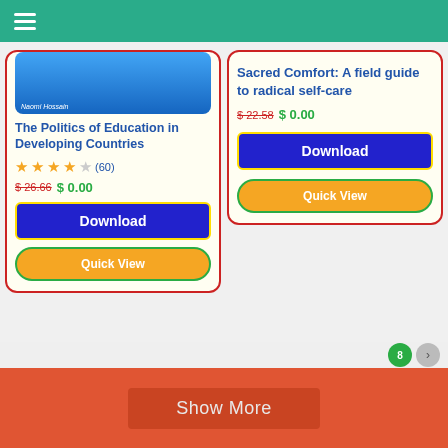Navigation menu bar
The Politics of Education in Developing Countries
(60) stars rating
$ 26.66  $ 0.00
Download
Quick View
Sacred Comfort: A field guide to radical self-care
$ 22.58  $ 0.00
Download
Quick View
Show More